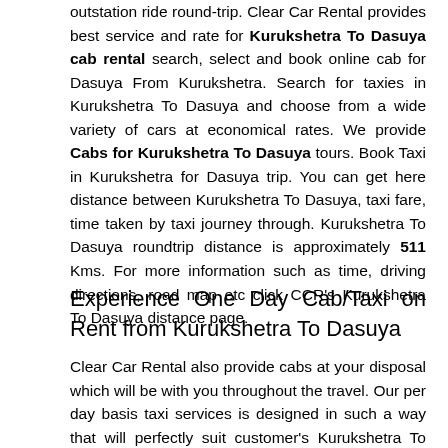outstation ride round-trip. Clear Car Rental provides best service and rate for Kurukshetra To Dasuya cab rental search, select and book online cab for Dasuya From Kurukshetra. Search for taxies in Kurukshetra To Dasuya and choose from a wide variety of cars at economical rates. We provide Cabs for Kurukshetra To Dasuya tours. Book Taxi in Kurukshetra for Dasuya trip. You can get here distance between Kurukshetra To Dasuya, taxi fare, time taken by taxi journey through. Kurukshetra To Dasuya roundtrip distance is approximately 511 Kms. For more information such as time, driving directions, road map etc click CCR's Kurukshetra To Dasuya distance page.
Experience One Day Cab/Taxi on Rent from Kurukshetra To Dasuya
Clear Car Rental also provide cabs at your disposal which will be with you throughout the travel. Our per day basis taxi services is designed in such a way that will perfectly suit customer's Kurukshetra To Dasuya